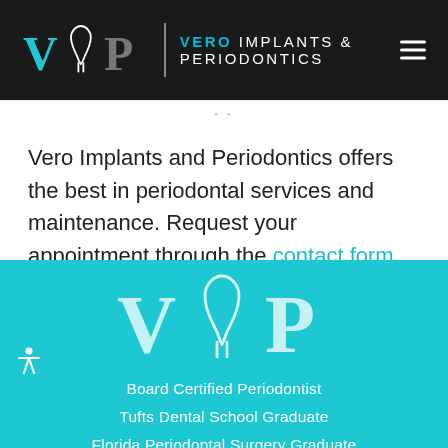[Figure (logo): VIP Vero Implants & Periodontics logo on dark header bar with hamburger menu]
Vero Implants and Periodontics offers the best in periodontal services and maintenance. Request your appointment through the contact form now, or call 772-569-9700 today for help.
[Figure (logo): VIP logo (white) centered on teal background]
Board Certified Periodontist
Tufts Dental School Graduate
Florida Periodontal Surgery Graduate